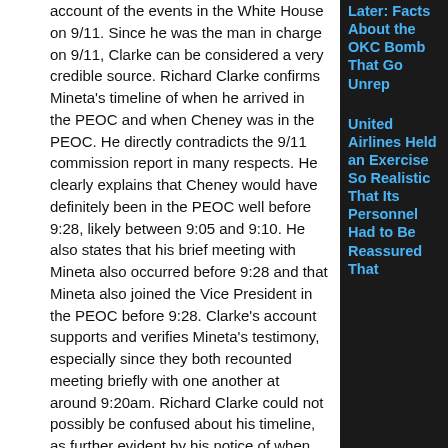account of the events in the White House on 9/11. Since he was the man in charge on 9/11, Clarke can be considered a very credible source. Richard Clarke confirms Mineta's timeline of when he arrived in the PEOC and when Cheney was in the PEOC. He directly contradicts the 9/11 commission report in many respects. He clearly explains that Cheney would have definitely been in the PEOC well before 9:28, likely between 9:05 and 9:10. He also states that his brief meeting with Mineta also occurred before 9:28 and that Mineta also joined the Vice President in the PEOC before 9:28. Clarke's account supports and verifies Mineta's testimony, especially since they both recounted meeting briefly with one another at around 9:20am. Richard Clarke could not possibly be confused about his timeline, as further evident by his notice of when the President made his address on CNN and when the Pentagon was struck.
Clarke's account of 9/11 represented the first chapter of his book. The relevant sections have been quoted below and "…" spaces are used to
Later: Facts About the OKC Bomb That Go Unreported
United Airlines Held an Exercise So Realistic That Its Personnel Had to Be Reassured That